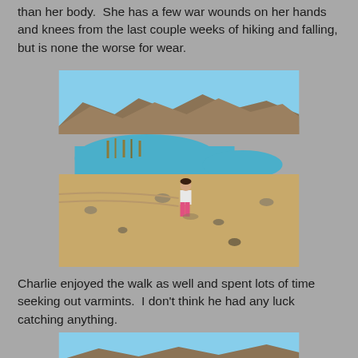than her body.  She has a few war wounds on her hands and knees from the last couple weeks of hiking and falling, but is none the worse for wear.
[Figure (photo): A young child standing on rocky desert ground near a blue lake with mountains in the background.]
Charlie enjoyed the walk as well and spent lots of time seeking out varmints.  I don't think he had any luck catching anything.
[Figure (photo): Partial view of desert landscape with blue sky and mountains, bottom portion of a second outdoor photo.]